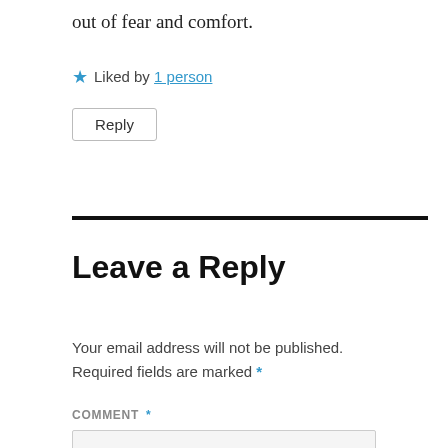out of fear and comfort.
★ Liked by 1 person
Reply
Leave a Reply
Your email address will not be published. Required fields are marked *
COMMENT *